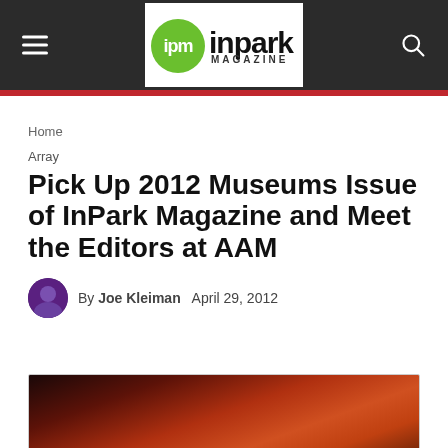ipm inpark MAGAZINE
Home
Array
Pick Up 2012 Museums Issue of InPark Magazine and Meet the Editors at AAM
By Joe Kleiman   April 29, 2012
[Figure (photo): Partial view of an interior image with warm orange and red tones, likely a museum or exhibition space interior]